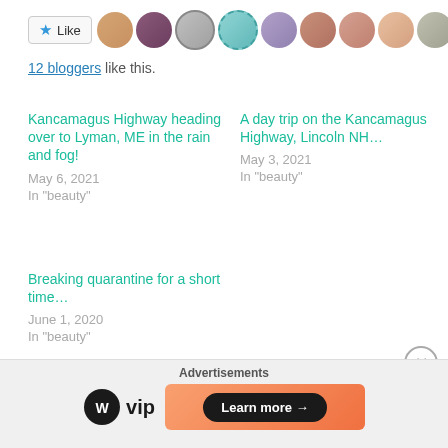[Figure (other): Like button and row of blogger avatars]
12 bloggers like this.
Kancamagus Highway heading over to Lyman, ME in the rain and fog!
May 6, 2021
In "beauty"
A day trip on the Kancamagus Highway, Lincoln NH…
May 3, 2021
In "beauty"
Breaking quarantine for a short time…
June 1, 2020
In "beauty"
Tagged Airbnb, birds, Lyman ME, Wadleigh Pond
[Figure (other): WordPress VIP advertisement banner with Learn more button]